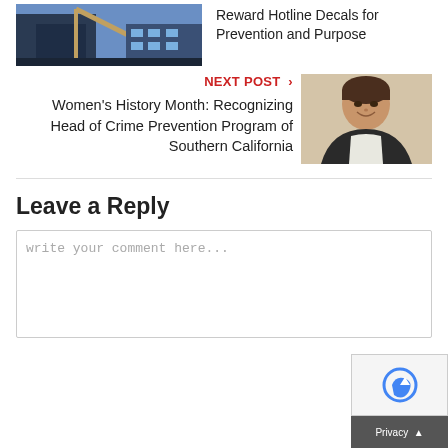[Figure (photo): Thumbnail image of construction equipment/crane at a dock or port, blue tones]
Reward Hotline Decals for Prevention and Purpose
NEXT POST >
Women's History Month: Recognizing Head of Crime Prevention Program of Southern California
[Figure (photo): Headshot photo of a woman with short brown hair, smiling, wearing dark blazer]
Leave a Reply
write your comment here...